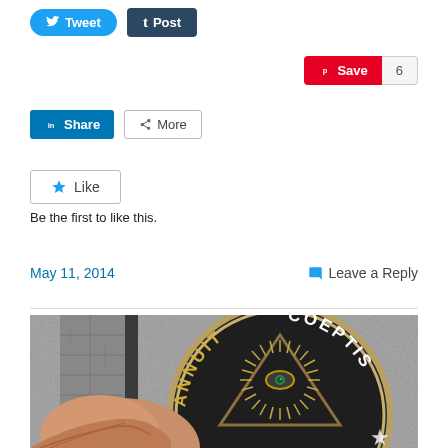[Figure (screenshot): Social sharing buttons: Tweet (Twitter), Post (Tumblr), Pinterest Save with count 6, LinkedIn Share, More]
[Figure (screenshot): Like button with star icon]
Be the first to like this.
May 11, 2014
Leave a Reply
[Figure (photo): Photo of a large medallion or seal showing the Eye of Providence (All-seeing eye) with sunburst, inscribed with 'ANNUIT COEPTIS', person's head visible in lower left, dark background with grey concrete texture]